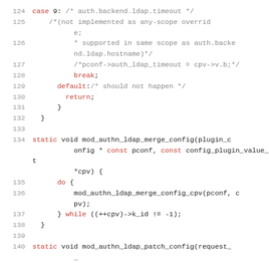[Figure (screenshot): Source code listing in C, lines 124-140, showing a switch/case statement and function definitions for mod_authn_ldap_merge_config and mod_authn_ldap_patch_config. Keywords are highlighted in red, comments in gray.]